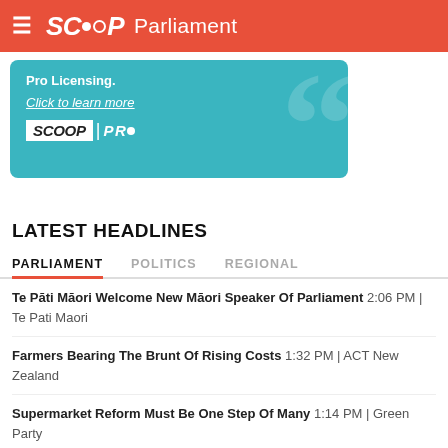SCOOP Parliament
[Figure (advertisement): Scoop Pro ad banner on teal background with large quotation mark watermark. Text: 'Pro Licensing. Click to learn more' with SCOOP PRO logo]
LATEST HEADLINES
PARLIAMENT | POLITICS | REGIONAL (tabs)
Te Pāti Māori Welcome New Māori Speaker Of Parliament 2:06 PM | Te Pati Maori
Farmers Bearing The Brunt Of Rising Costs 1:32 PM | ACT New Zealand
Supermarket Reform Must Be One Step Of Many 1:14 PM | Green Party
Miserable Migrant Nursing Numbers Under New Visa 9:50 AM | New Zealand National Party